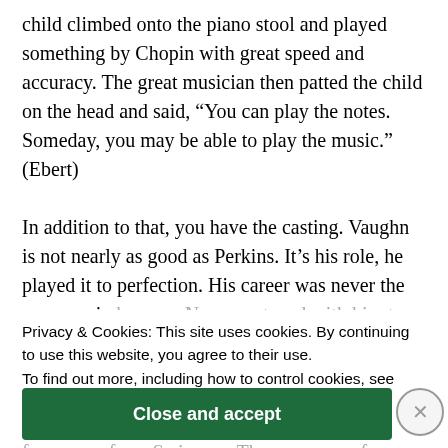child climbed onto the piano stool and played something by Chopin with great speed and accuracy. The great musician then patted the child on the head and said, “You can play the notes. Someday, you may be able to play the music.” (Ebert)
In addition to that, you have the casting. Vaughn is not nearly as good as Perkins. It’s his role, he played it to perfection. His career was never the same again because Norman stayed with him to the end. That’s
Privacy & Cookies: This site uses cookies. By continuing to use this website, you agree to their use.
To find out more, including how to control cookies, see here:
Cookie Policy
funny guy from Swingers. The same goes for Leigh. Kim Morgan mentioned that before shooting the scenes of the remake she kept studying the
Close and accept